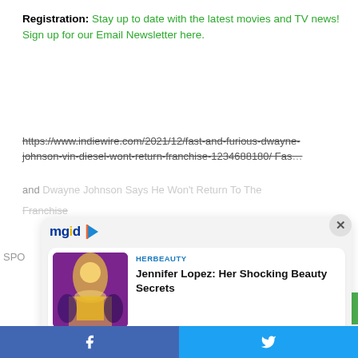Registration: Stay up to date with the latest movies and TV news! Sign up for our Email Newsletter here.
https://www.indiewire.com/2021/12/fast-and-furious-dwayne-johnson-vin-diesel-wont-return-franchise-1234688180/ Fast and Furious: Dwayne Johnson Says He Won't Return To The Franchise
[Figure (screenshot): MGID sponsored content overlay panel with two ad cards: 1) HERBEAUTY - Jennifer Lopez: Her Shocking Beauty Secrets, 2) BRAINBERRIES - It's Hard To Imagine Her As Anything Less Than A Joy. Close button (X) in top right. MGID logo with play button icon.]
Facebook share button | Twitter share button